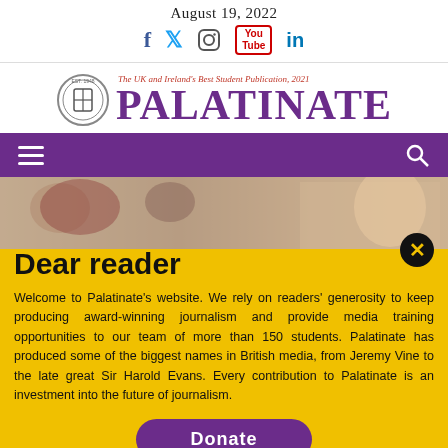August 19, 2022
[Figure (logo): Palatinate newspaper logo with emblem, tagline 'The UK and Ireland's Best Student Publication, 2021', and social media icons (Facebook, Twitter, Instagram, YouTube, LinkedIn)]
[Figure (screenshot): Purple navigation bar with hamburger menu icon and search icon]
[Figure (photo): Partial background photo behind 'Dear reader' heading]
Dear reader
Welcome to Palatinate's website. We rely on readers' generosity to keep producing award-winning journalism and provide media training opportunities to our team of more than 150 students. Palatinate has produced some of the biggest names in British media, from Jeremy Vine to the late great Sir Harold Evans. Every contribution to Palatinate is an investment into the future of journalism.
[Figure (other): Donate button (purple rounded rectangle)]